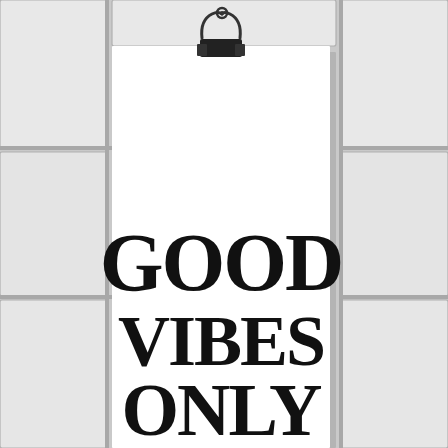[Figure (photo): A white poster with bold black serif text reading 'GOOD VIBES ONLY' in three lines, clipped to a white tile wall background by a black binder clip. The poster hangs in front of a white ceramic tile grid wall. The scene is in black and white tones.]